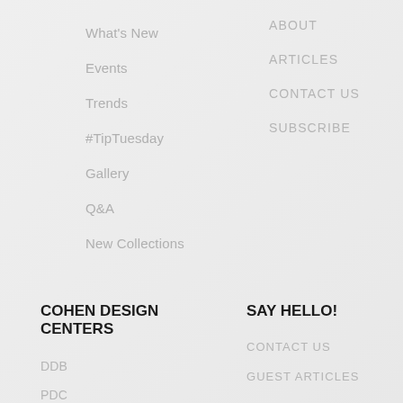What's New
Events
Trends
#TipTuesday
Gallery
Q&A
New Collections
ABOUT
ARTICLES
CONTACT US
SUBSCRIBE
COHEN DESIGN CENTERS
SAY HELLO!
DDB
PDC
DCH
DCOTA
CONTACT US
GUEST ARTICLES